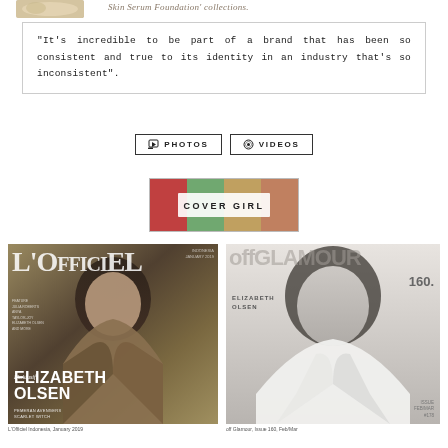Skin Serum Foundation' collections.
"It's incredible to be part of a brand that has been so consistent and true to its identity in an industry that's so inconsistent".
PHOTOS   VIDEOS
[Figure (photo): COVER GIRL banner with photo collage background]
[Figure (photo): L'Officiel magazine cover featuring Elizabeth Olsen in brown leather jacket]
[Figure (photo): Black and white magazine cover featuring Elizabeth Olsen in white shirt, labeled ELIZABETH OLSEN, issue 160]